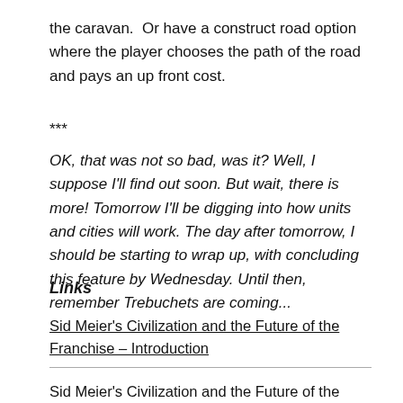the caravan.  Or have a construct road option where the player chooses the path of the road and pays an up front cost.
***
OK, that was not so bad, was it? Well, I suppose I'll find out soon. But wait, there is more! Tomorrow I'll be digging into how units and cities will work. The day after tomorrow, I should be starting to wrap up, with concluding this feature by Wednesday. Until then, remember Trebuchets are coming...
Links
Sid Meier's Civilization and the Future of the Franchise – Introduction
Sid Meier's Civilization and the Future of the Franchise –